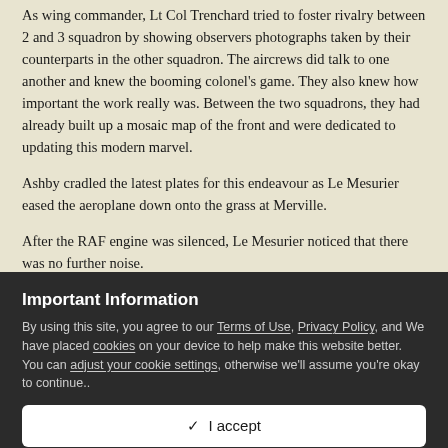As wing commander, Lt Col Trenchard tried to foster rivalry between 2 and 3 squadron by showing observers photographs taken by their counterparts in the other squadron. The aircrews did talk to one another and knew the booming colonel's game. They also knew how important the work really was. Between the two squadrons, they had already built up a mosaic map of the front and were dedicated to updating this modern marvel.
Ashby cradled the latest plates for this endeavour as Le Mesurier eased the aeroplane down onto the grass at Merville.
After the RAF engine was silenced, Le Mesurier noticed that there was no further noise.
Important Information
By using this site, you agree to our Terms of Use, Privacy Policy, and We have placed cookies on your device to help make this website better. You can adjust your cookie settings, otherwise we'll assume you're okay to continue..
✓  I accept